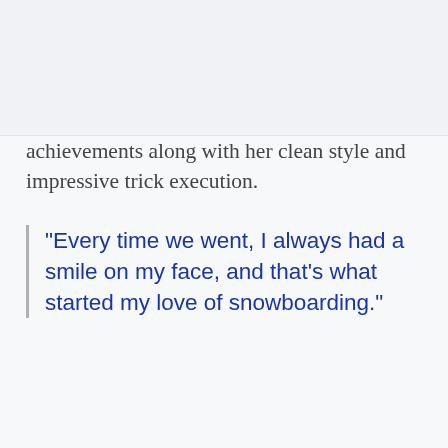achievements along with her clean style and impressive trick execution.
"Every time we went, I always had a smile on my face, and that’s what started my love of snowboarding."
[Figure (other): Social media share icons: Facebook (f) and Twitter (bird) in dark blue]
Watch This!
[Figure (other): Facebook share button bar (blue) with f icon, and a share/export button (dark blue) with share arrow icon]